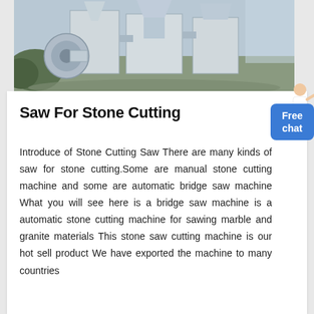[Figure (photo): Industrial stone cutting/grinding machine equipment outdoors, showing large white cylindrical machines with ducts and hoppers against a sky background.]
Saw For Stone Cutting
Introduce of Stone Cutting Saw There are many kinds of saw for stone cutting.Some are manual stone cutting machine and some are automatic bridge saw machine What you will see here is a bridge saw machine is a automatic stone cutting machine for sawing marble and granite materials This stone saw cutting machine is our hot sell product We have exported the machine to many countries
Click to chat